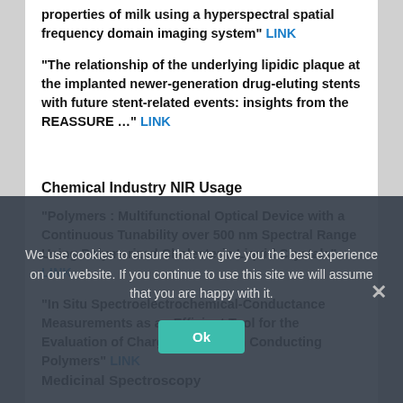properties of milk using a hyperspectral spatial frequency domain imaging system" LINK
"The relationship of the underlying lipidic plaque at the implanted newer-generation drug-eluting stents with future stent-related events: insights from the REASSURE …" LINK
Chemical Industry NIR Usage
"Polymers : Multifunctional Optical Device with a Continuous Tunability over 500 nm Spectral Range Using Polymerized Cholesteric Liquid Crystals" LINK
"In Situ Spectroelectrochemical-Conductance Measurements as an Efficient Tool for the Evaluation of Charge Trapping in Conducting Polymers" LINK
Medicinal Spectroscopy